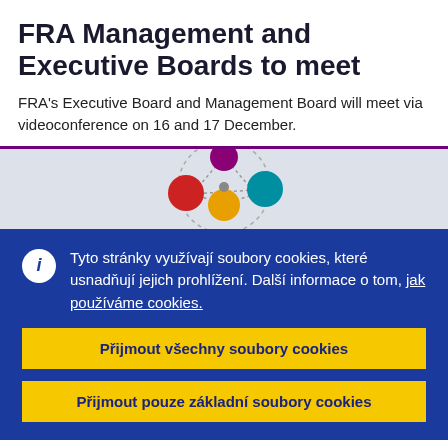FRA Management and Executive Boards to meet
FRA's Executive Board and Management Board will meet via videoconference on 16 and 17 December.
[Figure (illustration): Colorful connected circles diagram on light grey background, showing colored dots (purple, red, orange, teal) connected by dashed lines in a network pattern.]
Tyto stránky využívají soubory cookies, které usnadňují jejich prohlížení. Další informace o tom, jak používáme cookies.
Přijmout všechny soubory cookies
Přijmout pouze základní soubory cookies